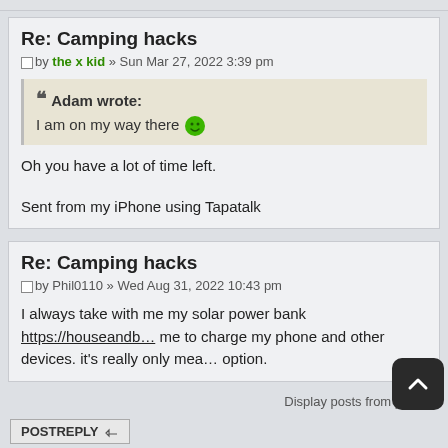Re: Camping hacks
by the x kid » Sun Mar 27, 2022 3:39 pm
Adam wrote:
I am on my way there 😊
Oh you have a lot of time left.
Sent from my iPhone using Tapatalk
Re: Camping hacks
by Phil0110 » Wed Aug 31, 2022 10:43 pm
I always take with me my solar power bank https://houseandb... me to charge my phone and other devices. it's really only mea... option.
Display posts from previ...
POSTREPLY